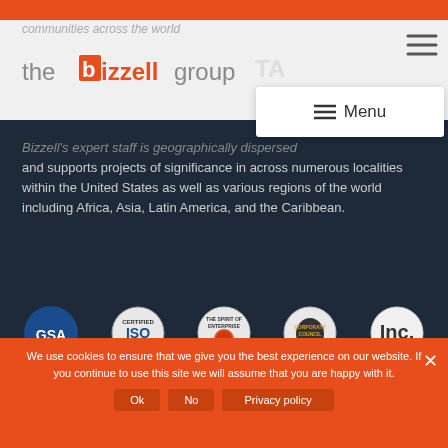communities across the world
[Figure (logo): The Bizzell Group logo with orange B in a box and orange bizzell text]
[Figure (screenshot): Menu navigation overlay with hamburger icon and Menu text]
Bizzell's expert staff is geographically dispersed and supports projects of significance in across numerous localities within the United States as well as various regions of the world including Africa, Asia, Latin America, and the Caribbean.
[Figure (infographic): Five certification/award badges: GSA, ISO Certified, Spirit of Enterprise, Corporate Council, Inc.]
We use cookies to ensure that we give you the best experience on our website. If you continue to use this site we will assume that you are happy with it.
Ok
No
Privacy policy